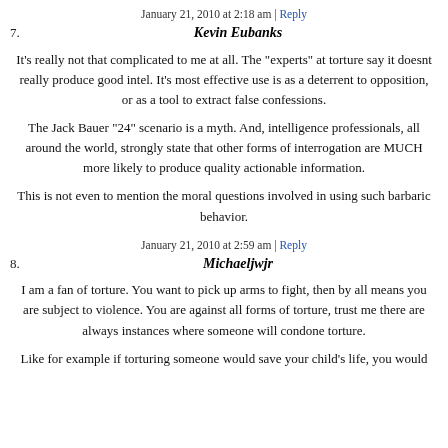January 21, 2010 at 2:18 am | Reply
7.	Kevin Eubanks
It's really not that complicated to me at all. The "experts" at torture say it doesnt really produce good intel. It's most effective use is as a deterrent to opposition, or as a tool to extract false confessions.

The Jack Bauer "24" scenario is a myth. And, intelligence professionals, all around the world, strongly state that other forms of interrogation are MUCH more likely to produce quality actionable information.

This is not even to mention the moral questions involved in using such barbaric behavior.
January 21, 2010 at 2:59 am | Reply
8.	Michaeljwjr
I am a fan of torture. You want to pick up arms to fight, then by all means you are subject to violence. You are against all forms of torture, trust me there are always instances where someone will condone torture.

Like for example if torturing someone would save your child's life, you would